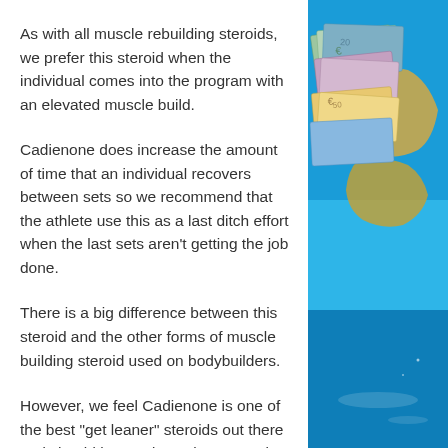As with all muscle rebuilding steroids, we prefer this steroid when the individual comes into the program with an elevated muscle build.
Cadienone does increase the amount of time that an individual recovers between sets so we recommend that the athlete use this as a last ditch effort when the last sets aren't getting the job done.
There is a big difference between this steroid and the other forms of muscle building steroid used on bodybuilders.
However, we feel Cadienone is one of the best "get leaner" steroids out there and should be used as a last resort in the final stages of the cycle.
Although it can help with an increase in
[Figure (photo): Photo of Euro currency banknotes arranged on a map of the world with blue ocean background visible]